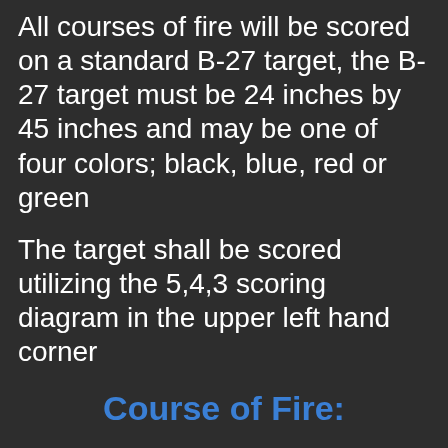All courses of fire will be scored on a standard B-27 target, the B-27 target must be 24 inches by 45 inches and may be one of four colors; black, blue, red or green
The target shall be scored utilizing the 5,4,3 scoring diagram in the upper left hand corner
Course of Fire:
Stage 1: Twenty shots (20) will be fired from 3 yards.